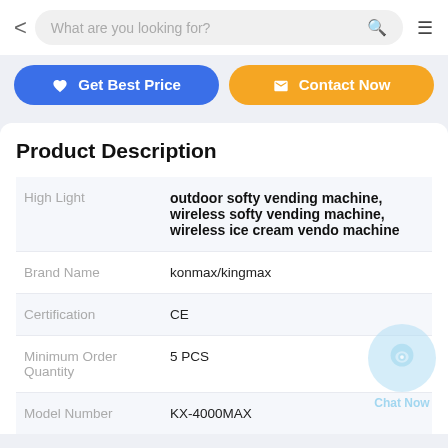What are you looking for?
[Figure (screenshot): Get Best Price and Contact Now buttons]
Product Description
| Field | Value |
| --- | --- |
| High Light | outdoor softy vending machine, wireless softy vending machine, wireless ice cream vendo machine |
| Brand Name | konmax/kingmax |
| Certification | CE |
| Minimum Order Quantity | 5 PCS |
| Model Number | KX-4000MAX |